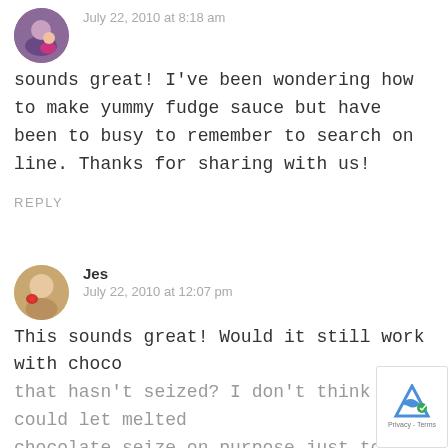[Figure (photo): Round avatar of Katie, showing a woman and child]
Katie
July 22, 2010 at 8:18 am
sounds great! I've been wondering how to make yummy fudge sauce but have been to busy to remember to search on line. Thanks for sharing with us!
REPLY
[Figure (photo): Round avatar of Jes, showing a young child with a red flower]
Jes
July 22, 2010 at 12:07 pm
This sounds great! Would it still work with choco that hasn't seized? I don't think I could let melted chocolate seize on purpose just to make this...